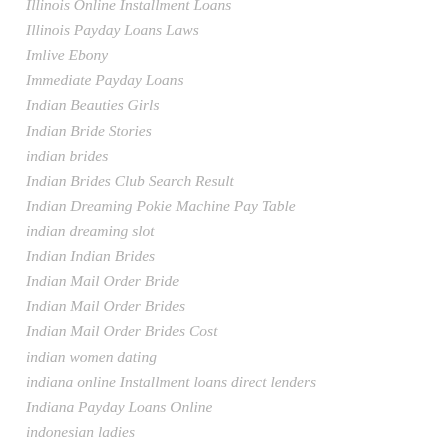Illinois Online Installment Loans
Illinois Payday Loans Laws
Imlive Ebony
Immediate Payday Loans
Indian Beauties Girls
Indian Bride Stories
indian brides
Indian Brides Club Search Result
Indian Dreaming Pokie Machine Pay Table
indian dreaming slot
Indian Indian Brides
Indian Mail Order Bride
Indian Mail Order Brides
Indian Mail Order Brides Cost
indian women dating
indiana online Installment loans direct lenders
Indiana Payday Loans Online
indonesian ladies